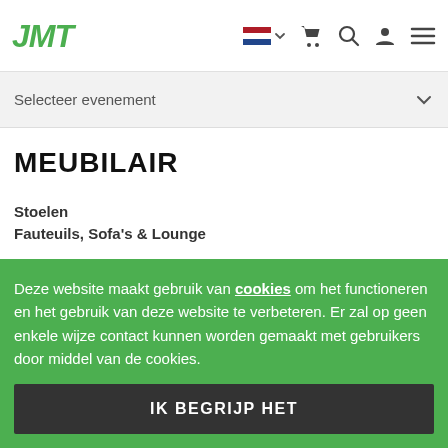JMT
Selecteer evenement
MEUBILAIR
Stoelen
Fauteuils, Sofa's & Lounge
Deze website maakt gebruik van cookies om het functioneren en het gebruik van deze website te verbeteren. Er zal op geen enkele wijze contact kunnen worden gemaakt met gebruikers door middel van de cookies.
IK BEGRIJP HET